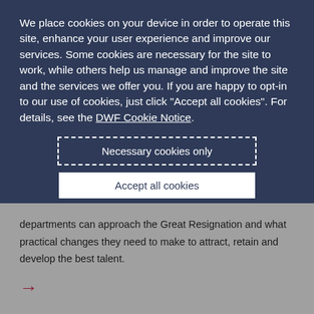We place cookies on your device in order to operate this site, enhance your user experience and improve our services. Some cookies are necessary for the site to work, while others help us manage and improve the site and the services we offer you. If you are happy to opt-in to our use of cookies, just click "Accept all cookies". For details, see the DWF Cookie Notice.
Necessary cookies only
Accept all cookies
+ Review our use of cookies and set your preferences
departments can approach the Great Resignation and what practical changes they need to make to attract, retain and develop the best talent.